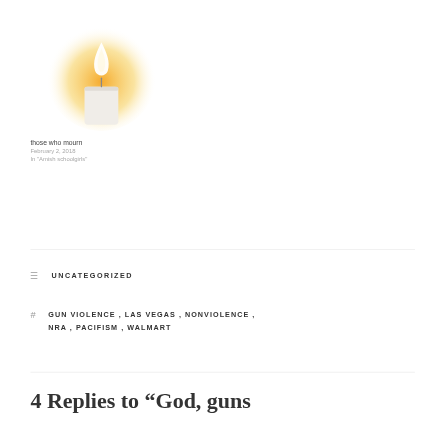[Figure (illustration): A glowing candle illustration with an orange/yellow radial glow behind a white candle body and flame]
those who mourn
February 2, 2018
In "Amish schoolgirls"
UNCATEGORIZED
GUN VIOLENCE , LAS VEGAS , NONVIOLENCE , NRA , PACIFISM , WALMART
4 Replies to “God, guns